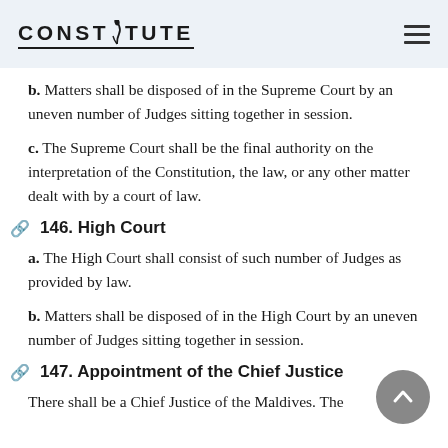CONSTITUTE
b. Matters shall be disposed of in the Supreme Court by an uneven number of Judges sitting together in session.
c. The Supreme Court shall be the final authority on the interpretation of the Constitution, the law, or any other matter dealt with by a court of law.
146. High Court
a. The High Court shall consist of such number of Judges as provided by law.
b. Matters shall be disposed of in the High Court by an uneven number of Judges sitting together in session.
147. Appointment of the Chief Justice
There shall be a Chief Justice of the Maldives. The...